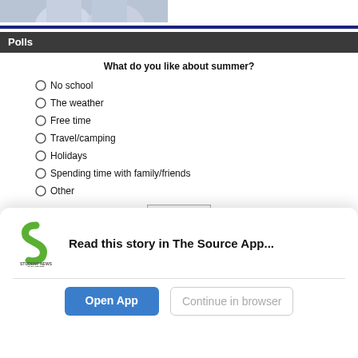[Figure (photo): Partial photo of two people in light blue clothing, cropped at top of page]
Polls
What do you like about summer?
No school
The weather
Free time
Travel/camping
Holidays
Spending time with family/friends
Other
[Figure (screenshot): Vote button]
[Figure (logo): Student News Source app logo — green S shape with text STUDENT NEWS SOURCE below]
Read this story in The Source App...
Open App
Continue in browser